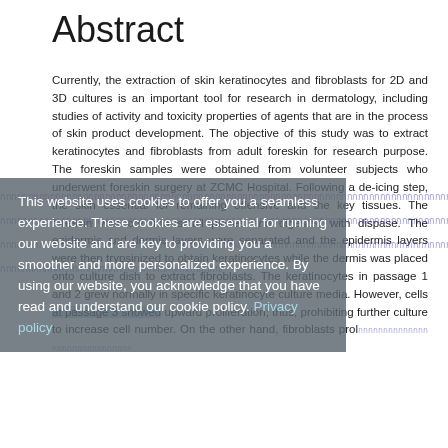Abstract
Currently, the extraction of skin keratinocytes and fibroblasts for 2D and 3D cultures is an important tool for research in dermatology, including studies of activity and toxicity properties of agents that are in the process of skin product development. The objective of this study was to extract keratinocytes and fibroblasts from adult foreskin for research purpose. The foreskin samples were obtained from volunteer subjects who underwent foreskin surgery at ZCMC Hospital. Following a de-icing step, the skin essential for remaining offensive and key tissues. The foreskin was cut into small pieces and digested with dispase. The epidermis and dermis layers were separated and the epidermis layers were then trypsinized to obtain keratinocytes while the dermis was placed onto culture dish to extract fibroblasts. The keratinocytes in passage 1 and 2 grew normally in specific keratinocyte culture media. However, cells at passage 3 showed upward proliferation; thus, prohibiting further culture to increase cell number. On the other hand, fibroblasts proliferated normally...